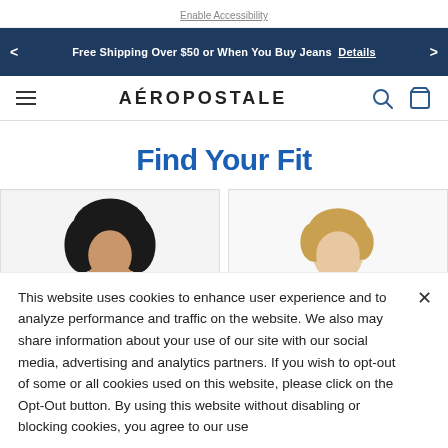Enable Accessibility
Free Shipping Over $50 or When You Buy Jeans  Details
AÉROPOSTALE
Find Your Fit
[Figure (photo): Two fashion model photos side by side showing women modeling Aeropostale clothing]
This website uses cookies to enhance user experience and to analyze performance and traffic on the website. We also may share information about your use of our site with our social media, advertising and analytics partners. If you wish to opt-out of some or all cookies used on this website, please click on the Opt-Out button. By using this website without disabling or blocking cookies, you agree to our use